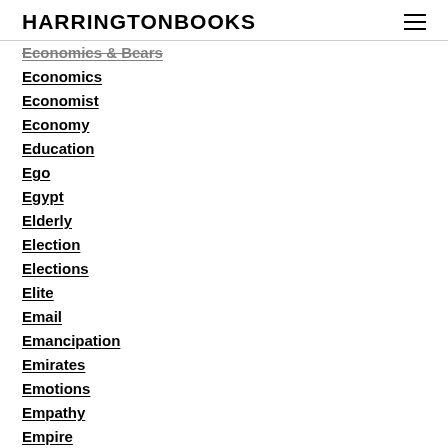HARRINGTONBOOKS
Economics & Bears
Economics
Economist
Economy
Education
Ego
Egypt
Elderly
Election
Elections
Elite
Email
Emancipation
Emirates
Emotions
Empathy
Empire